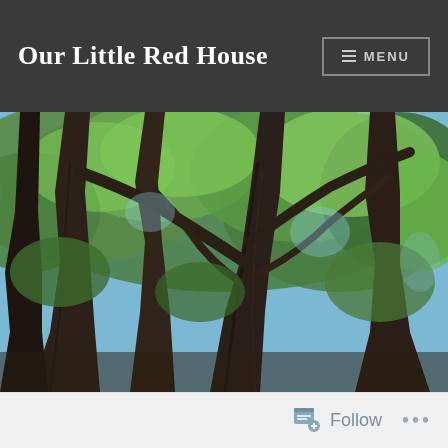Our Little Red House  ≡ MENU
[Figure (photo): Outdoor photograph looking up at large old trees with dark thick bark and bright green foliage against a partly cloudy blue sky. Multiple tall tree trunks visible with dense canopy of green leaves.]
Follow  ...